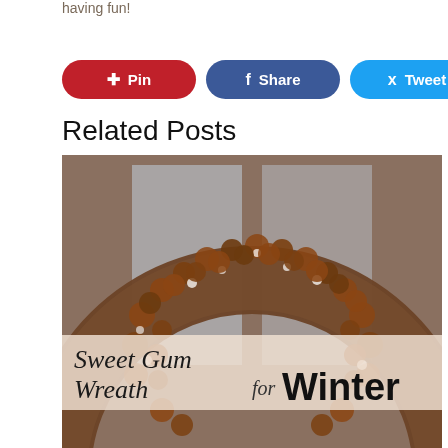having fun!
[Figure (infographic): Three social share buttons: Pin (red, Pinterest icon), Share (blue, Facebook icon), Tweet (light blue, Twitter icon)]
Related Posts
[Figure (photo): A sweet gum wreath with snow dusting on it, hanging on a door or window. A text banner overlay reads 'Sweet Gum Wreath for Winter' in script and bold fonts.]